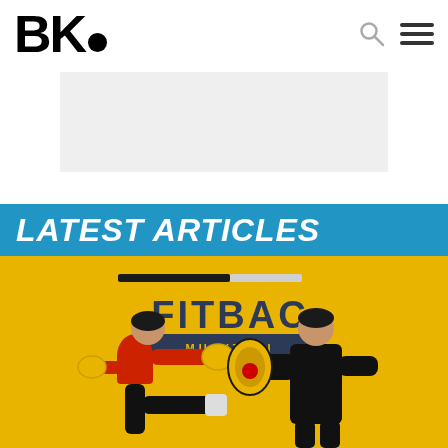BK•
[Figure (other): Gray advertisement banner placeholder]
LATEST ARTICLES
[Figure (photo): Photo of two people doing Muay Thai training in front of a yellow background with FITBAC MUAYTHAI ACADEMY logo. A woman in red punches toward a man in black holding pads.]